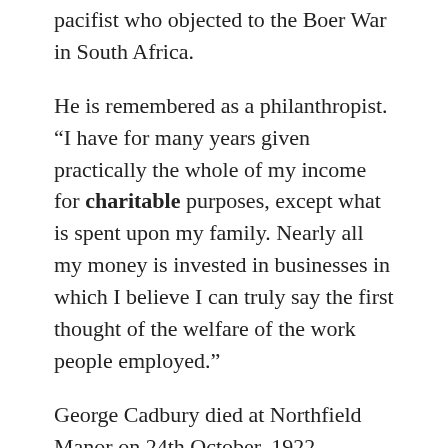pacifist who objected to the Boer War in South Africa.
He is remembered as a philanthropist. “I have for many years given practically the whole of my income for charitable purposes, except what is spent upon my family. Nearly all my money is invested in businesses in which I believe I can truly say the first thought of the welfare of the work people employed.”
George Cadbury died at Northfield Manor on 24th October, 1922.
““ This post is based on the work of my late friend Donald Prout whose love for books and Christian history led him to collate a